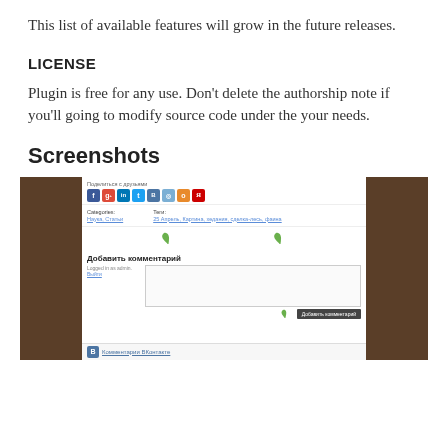This list of available features will grow in the future releases.
LICENSE
Plugin is free for any use. Don't delete the authorship note if you'll going to modify source code under the your needs.
Screenshots
[Figure (screenshot): Screenshot of a WordPress blog page showing a social sharing bar with icons (Facebook, Google+, LinkedIn, Twitter, VKontakte, etc.), categories and tags, leaf decorations, an 'Add comment' section with a comment textarea, and a VKontakte comments section at the bottom.]